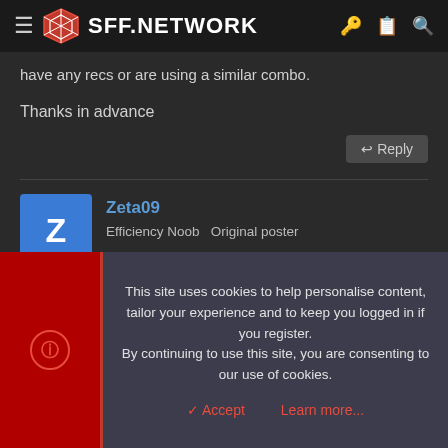SFF.NETWORK
have any recs or are using a similar combo.
Thanks in advance
Reply
Zeta09
Efficiency Noob  Original poster
Mar 17, 2020  #2
This site uses cookies to help personalise content, tailor your experience and to keep you logged in if you register. By continuing to use this site, you are consenting to our use of cookies.
Accept  Learn more...